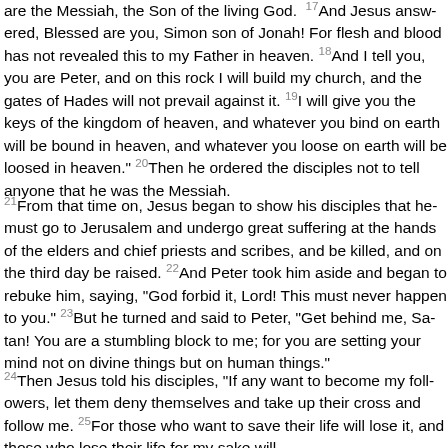are the Messiah, the Son of the living God. 17And Jesus answered, Blessed are you, Simon son of Jonah! For flesh and blood has not revealed this to my Father in heaven. 18And I tell you, you are Peter, and on this rock I will build my church, and the gates of Hades will not prevail against it. 19I will give you the keys of the kingdom of heaven, and whatever you bind on earth will be bound in heaven, and whatever you loose on earth will be loosed in heaven." 20Then he ordered the disciples not to tell anyone that he was the Messiah.
21From that time on, Jesus began to show his disciples that he must go to Jerusalem and undergo great suffering at the hands of the elders and chief priests and scribes, and be killed, and on the third day be raised. 22And Peter took him aside and began to rebuke him, saying, "God forbid it, Lord! This must never happen to you." 23But he turned and said to Peter, "Get behind me, Satan! You are a stumbling block to me; for you are setting your mind not on divine things but on human things."
24Then Jesus told his disciples, "If any want to become my followers, let them deny themselves and take up their cross and follow me. 25For those who want to save their life will lose it, and those who lose their life for my sake will